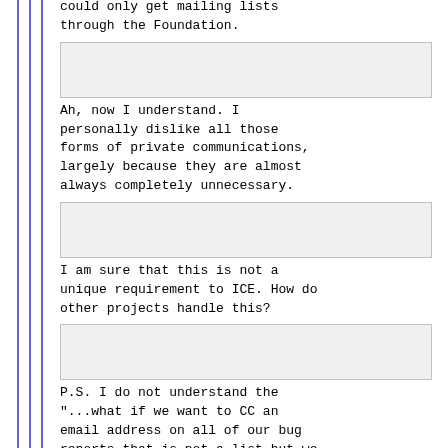could only get mailing lists through the Foundation.
[input box]
Ah, now I understand. I personally dislike all those forms of private communications, largely because they are almost always completely unnecessary.
[input box]
I am sure that this is not a unique requirement to ICE. How do other projects handle this?
[input box]
P.S. I do not understand the "...what if we want to CC an email address on all of our bug reports that is not a list but we all have access to..." use case. Why wouldn't you just use the